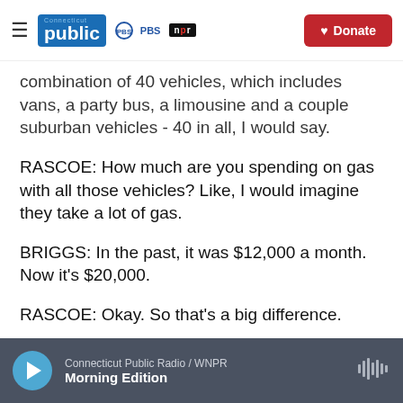Connecticut Public | PBS | NPR | Donate
combination of 40 vehicles, which includes vans, a party bus, a limousine and a couple suburban vehicles - 40 in all, I would say.
RASCOE: How much are you spending on gas with all those vehicles? Like, I would imagine they take a lot of gas.
BRIGGS: In the past, it was $12,000 a month. Now it's $20,000.
RASCOE: Okay. So that's a big difference.
BRIGGS: [truncated]
Connecticut Public Radio / WNPR — Morning Edition